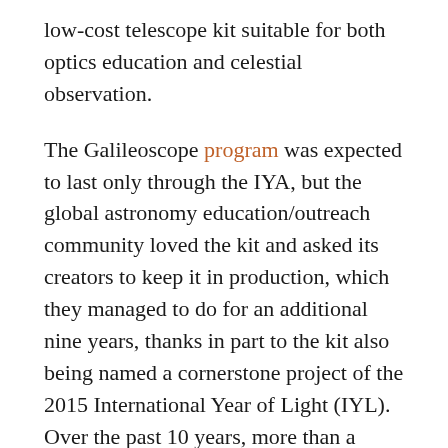low-cost telescope kit suitable for both optics education and celestial observation.
The Galileoscope program was expected to last only through the IYA, but the global astronomy education/outreach community loved the kit and asked its creators to keep it in production, which they managed to do for an additional nine years, thanks in part to the kit also being named a cornerstone project of the 2015 International Year of Light (IYL). Over the past 10 years, more than a quarter million Galileoscope kits have been distributed to teachers, students, and other enthusiasts in more than 110 countries for use in science education and public outreach activities.
In the process of assembling the Galileoscope,